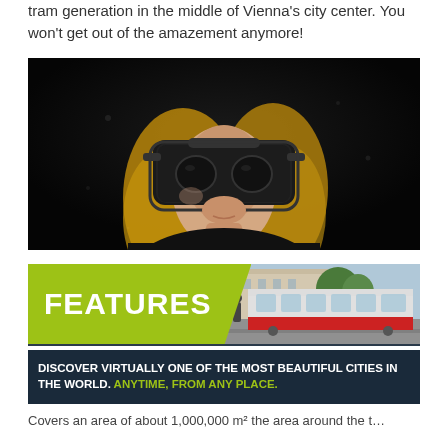tram generation in the middle of Vienna's city center. You won't get out of the amazement anymore!
[Figure (photo): Woman wearing a VR headset against a dark background, looking upward]
[Figure (infographic): Features banner with lime-green section showing 'FEATURES' text and right side showing a tram/city photo]
DISCOVER VIRTUALLY ONE OF THE MOST BEAUTIFUL CITIES IN THE WORLD. ANYTIME, FROM ANY PLACE.
Covers an area of about 1,000,000 m² the area around the t...